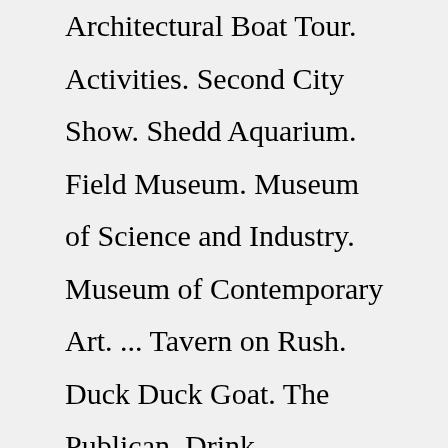Architectural Boat Tour. Activities. Second City Show. Shedd Aquarium. Field Museum. Museum of Science and Industry. Museum of Contemporary Art. ... Tavern on Rush. Duck Duck Goat. The Publican. Drink. Somerset. Pizzeria Portofino. London House. J. Parker ...Delivery & Pickup Options - 475 reviews of Pizzeria Portofino "Awesome location with great service and fabulous food. The meatball Parmesan, mediterranean salad and